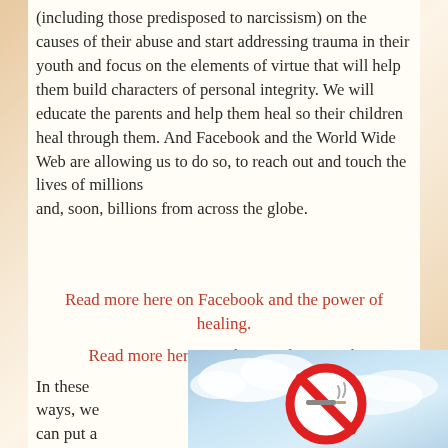(including those predisposed to narcissism) on the causes of their abuse and start addressing trauma in their youth and focus on the elements of virtue that will help them build characters of personal integrity. We will educate the parents and help them heal so their children heal through them. And Facebook and the World Wide Web are allowing us to do so, to reach out and touch the lives of millions and, soon, billions from across the globe.
Read more here on Facebook and the power of healing.
Read more here on why people are evil.
In these ways, we can put a
[Figure (photo): Photo of a no-smoking or prohibition sign (red circle with diagonal bar) against a cloudy blue sky background]